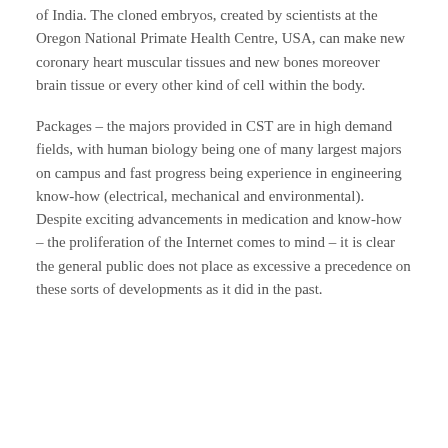of India. The cloned embryos, created by scientists at the Oregon National Primate Health Centre, USA, can make new coronary heart muscular tissues and new bones moreover brain tissue or every other kind of cell within the body.
Packages – the majors provided in CST are in high demand fields, with human biology being one of many largest majors on campus and fast progress being experience in engineering know-how (electrical, mechanical and environmental). Despite exciting advancements in medication and know-how – the proliferation of the Internet comes to mind – it is clear the general public does not place as excessive a precedence on these sorts of developments as it did in the past.